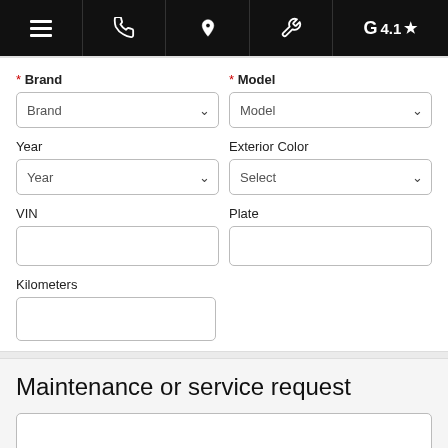Navigation bar with menu, phone, location, wrench/service, and Google rating 4.1★
* Brand
* Model
Year
Exterior Color
VIN
Plate
Kilometers
Maintenance or service request